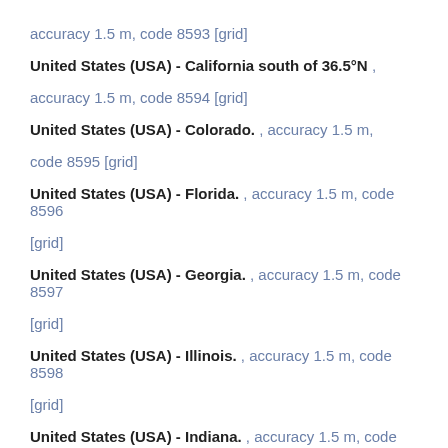accuracy 1.5 m, code 8593 [grid]
United States (USA) - California south of 36.5°N , accuracy 1.5 m, code 8594 [grid]
United States (USA) - Colorado. , accuracy 1.5 m, code 8595 [grid]
United States (USA) - Florida. , accuracy 1.5 m, code 8596 [grid]
United States (USA) - Georgia. , accuracy 1.5 m, code 8597 [grid]
United States (USA) - Illinois. , accuracy 1.5 m, code 8598 [grid]
United States (USA) - Indiana. , accuracy 1.5 m, code 8599 [grid]
United States (USA) - Iowa. , accuracy 1.5 m, code 8600 [grid]
United States (USA) - Kansas. , accuracy 1.5 m, code 8601